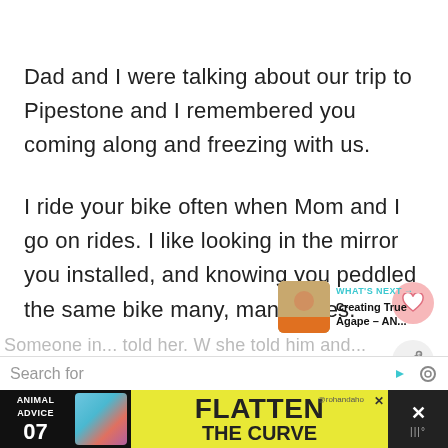Dad and I were talking about our trip to Pipestone and I remembered you coming along and freezing with us.
I ride your bike often when Mom and I go on rides. I like looking in the mirror you installed, and knowing you peddled the same bike many, many miles.
[Figure (infographic): Heart/like button (pink circle with heart icon)]
[Figure (infographic): Share button (light gray circle with share icon)]
[Figure (infographic): What's Next card with thumbnail image and text: WHAT'S NEXT → Creating True Agape – AN...]
Search for
[Figure (infographic): Advertisement banner: ANIMAL ADVICE 07 / FLATTEN THE CURVE @rohandaho with close button]